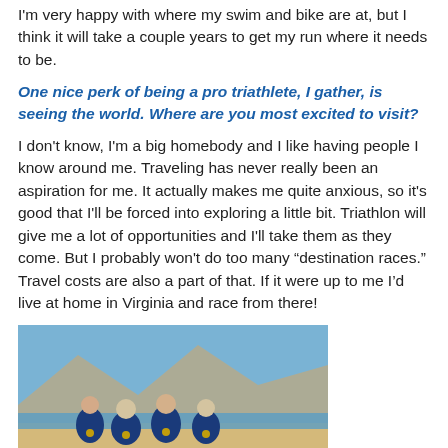I'm very happy with where my swim and bike are at, but I think it will take a couple years to get my run where it needs to be.
One nice perk of being a pro triathlete, I gather, is seeing the world. Where are you most excited to visit?
I don't know, I'm a big homebody and I like having people I know around me. Traveling has never really been an aspiration for me. It actually makes me quite anxious, so it's good that I'll be forced into exploring a little bit. Triathlon will give me a lot of opportunities and I'll take them as they come. But I probably won't do too many “destination races.” Travel costs are also a part of that. If it were up to me I’d live at home in Virginia and race from there!
[Figure (photo): Four athletes wearing blue and white triathlon uniforms with medals, posing together on a beach with mountains and blue sky in the background.]